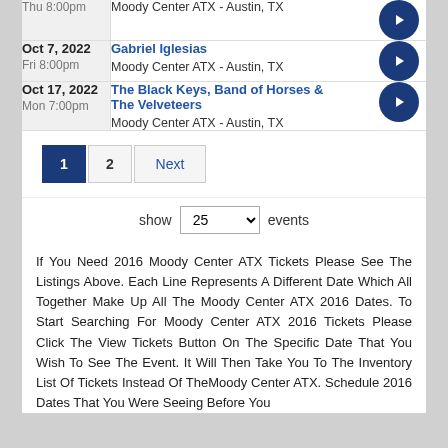| Date | Event | Link |
| --- | --- | --- |
| Thu 8:00pm | Moody Center ATX - Austin, TX | → |
| Oct 7, 2022
Fri 8:00pm | Gabriel Iglesias
Moody Center ATX - Austin, TX | → |
| Oct 17, 2022
Mon 7:00pm | The Black Keys, Band of Horses & The Velveteers
Moody Center ATX - Austin, TX | → |
1  2  Next
show 25 events
If You Need 2016 Moody Center ATX Tickets Please See The Listings Above. Each Line Represents A Different Date Which All Together Make Up All The Moody Center ATX 2016 Dates. To Start Searching For Moody Center ATX 2016 Tickets Please Click The View Tickets Button On The Specific Date That You Wish To See The Event. It Will Then Take You To The Inventory List Of Tickets Instead Of TheMoody Center ATX. Schedule 2016 Dates That You Were Seeing Before You